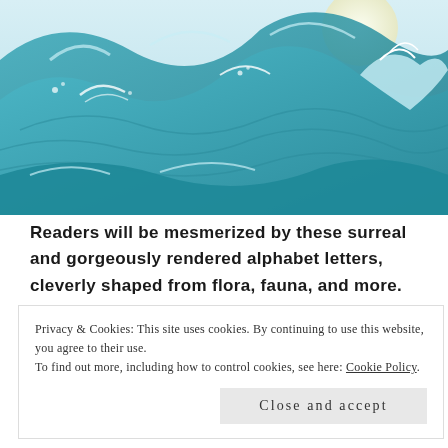[Figure (illustration): Illustration of large ocean waves in a style reminiscent of Japanese woodblock art (similar to Hokusai's Great Wave). Teal and blue tones with white foam crests.]
Readers will be mesmerized by these surreal and gorgeously rendered alphabet letters, cleverly shaped from flora, fauna, and more.
At first glance, this elegant alphabet book—showcasing both upper- and lowercase letters—seems to follow a familiar formula. There's an
Privacy & Cookies: This site uses cookies. By continuing to use this website, you agree to their use.
To find out more, including how to control cookies, see here: Cookie Policy
letter B. But then comes the letter C, made of sea